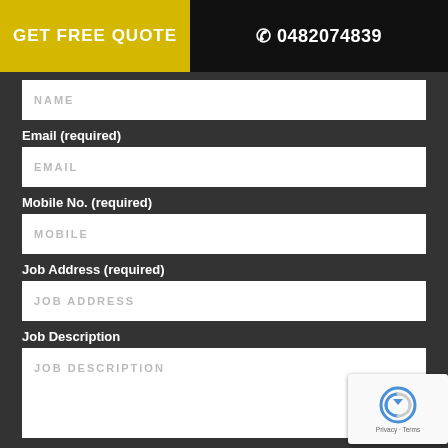GET FREE QUOTE
☎ 0482074839
NAME (form field placeholder)
Email (required)
EMAIL (form field placeholder)
Mobile No. (required)
MOBILE (form field placeholder)
Job Address (required)
JOB ADDRESS (form field placeholder)
Job Description
JOB DESCRIPTION (form field placeholder)
[Figure (other): reCAPTCHA badge with circular arrow logo, Privacy and Terms links]